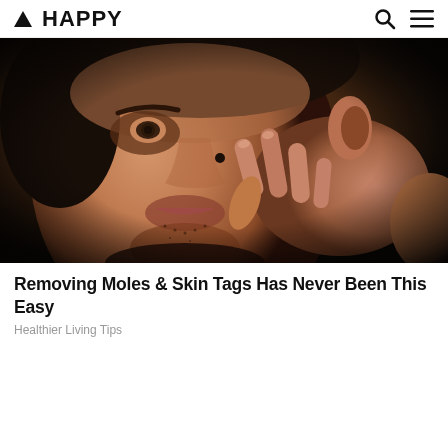▲ HAPPY
[Figure (photo): Close-up photo of a man's face against dark background, touching his cheek near a mole with his fingers.]
Removing Moles & Skin Tags Has Never Been This Easy
Healthier Living Tips